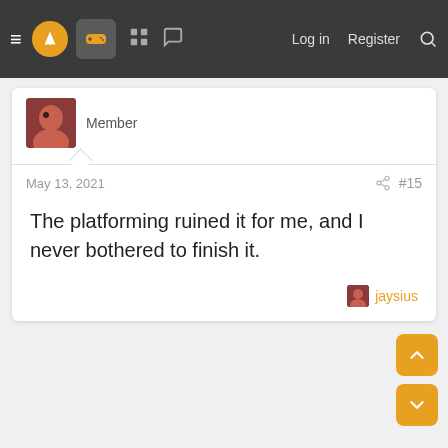≡  [logo] [controller icon] [grid icon] [chat icon]  Log in  Register  🔍
Member
May 13, 2021  #15
The platforming ruined it for me, and I never bothered to finish it.
jaysius